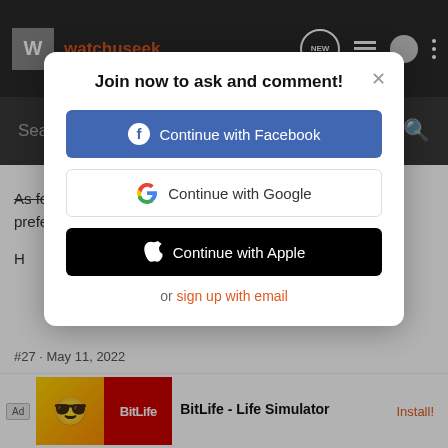watchuseek
Search Community
As for the design question, I guess have an aesthetic preference for 3-9 or 3-6-9 on an otherwise clean dial.
Join now to ask and comment!
Continue with Facebook
Continue with Google
Continue with Apple
or sign up with email
#27 · May 11, 2022
BitLife - Life Simulator
Install!